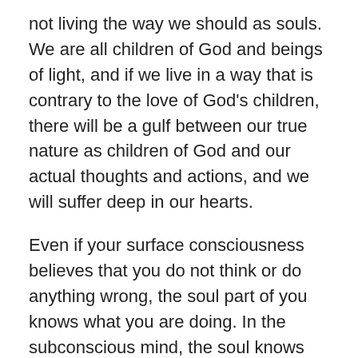not living the way we should as souls. We are all children of God and beings of light, and if we live in a way that is contrary to the love of God's children, there will be a gulf between our true nature as children of God and our actual thoughts and actions, and we will suffer deep in our hearts.
Even if your surface consciousness believes that you do not think or do anything wrong, the soul part of you knows what you are doing. In the subconscious mind, the soul knows whether or not it is in love as a child of God.
If we are doing something that is far from our true self as a child of God, it feels like a great suffering to our souls. We see what we are doing to ourselves in the deepest recesses of our hearts.